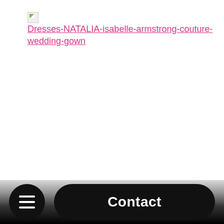[Figure (other): Broken image icon followed by a hyperlink reading 'Dresses-NATALIA-isabelle-armstrong-couture-wedding-gown' in pink/magenta underlined text]
☰  Contact